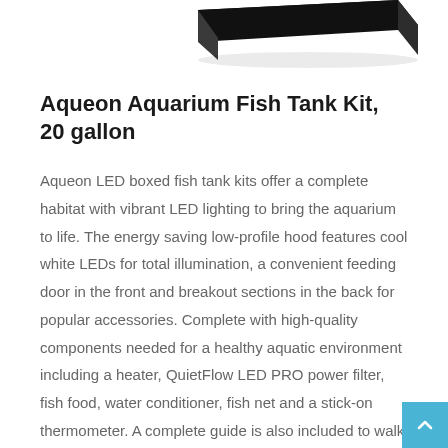[Figure (photo): Partial view of a black aquarium fish tank kit, showing the top/side portion of the product against a white background.]
Aqueon Aquarium Fish Tank Kit, 20 gallon
Aqueon LED boxed fish tank kits offer a complete habitat with vibrant LED lighting to bring the aquarium to life. The energy saving low-profile hood features cool white LEDs for total illumination, a convenient feeding door in the front and breakout sections in the back for popular accessories. Complete with high-quality components needed for a healthy aquatic environment including a heater, QuietFlow LED PRO power filter, fish food, water conditioner, fish net and a stick-on thermometer. A complete guide is also included to walk you through the